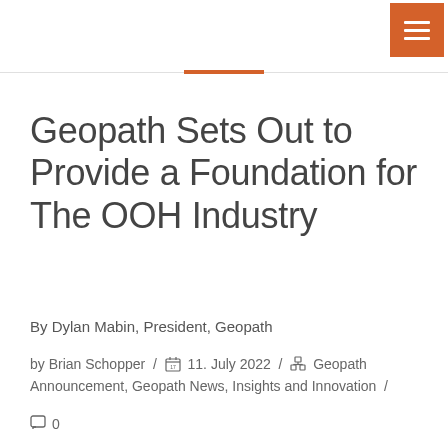Geopath Sets Out to Provide a Foundation for The OOH Industry
By Dylan Mabin, President, Geopath
by Brian Schopper / 11. July 2022 / Geopath Announcement, Geopath News, Insights and Innovation /
0